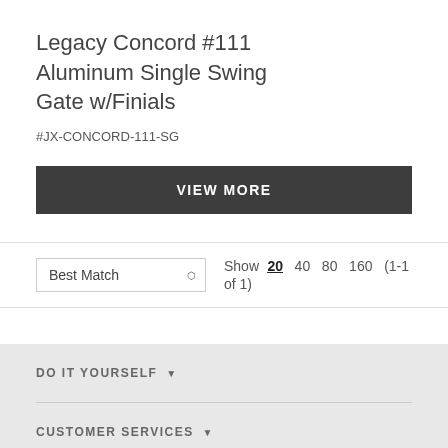Legacy Concord #111 Aluminum Single Swing Gate w/Finials
#JX-CONCORD-111-SG
VIEW MORE
Show 20  40  80  160  (1-1 of 1)
DO IT YOURSELF ▼
CUSTOMER SERVICES ▼
NEWSLETTER SIGNUP